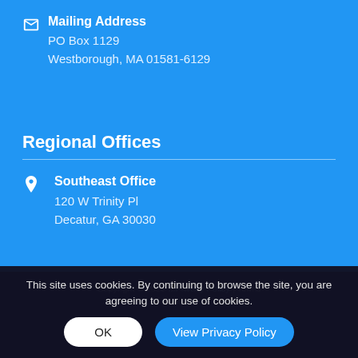Mailing Address
PO Box 1129
Westborough, MA 01581-6129
Regional Offices
Southeast Office
120 W Trinity Pl
Decatur, GA 30030
This site uses cookies. By continuing to browse the site, you are agreeing to our use of cookies.
Copyright © 2019 ... Privacy Policy | Terms of Service | ...
OK
View Privacy Policy